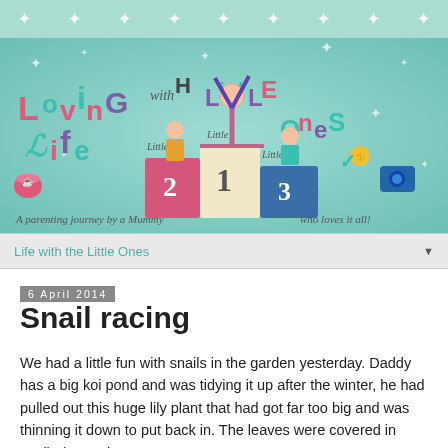[Figure (illustration): Top decorative mint/teal banner with white stars]
[Figure (illustration): Blog header banner for 'Loving Life with Little Ones' - a parenting blog illustration with colorful cartoon children doing gymnastics on a podium (places 1, 2, 3), decorative lettering in various colors (pink, teal, purple, blue), and tagline 'A parenting journey by a Mummy who loves it all!']
Life with the Little Ones
6 April 2014
Snail racing
We had a little fun with snails in the garden yesterday. Daddy has a big koi pond and was tidying it up after the winter, he had pulled out this huge lily plant that had got far too big and was thinning it down to put back in. The leaves were covered in snails (normal